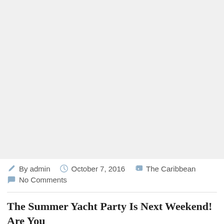[Figure (photo): Large light gray placeholder image area at top of blog post page]
By admin   October 7, 2016   The Caribbean
No Comments
The Summer Yacht Party Is Next Weekend! Are You